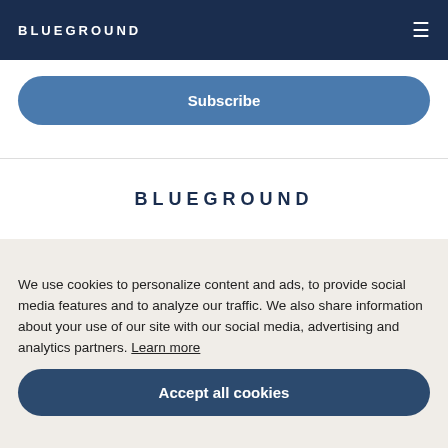BLUEGROUND
Subscribe
BLUEGROUND
We use cookies to personalize content and ads, to provide social media features and to analyze our traffic. We also share information about your use of our site with our social media, advertising and analytics partners. Learn more
Accept all cookies